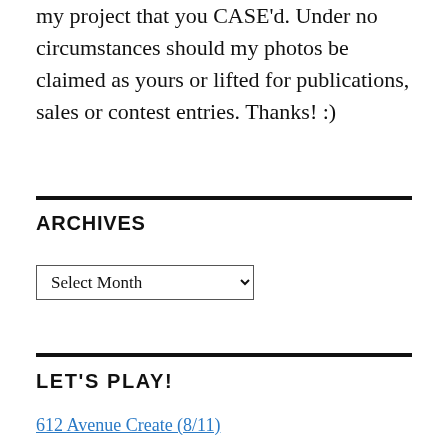my project that you CASE'd. Under no circumstances should my photos be claimed as yours or lifted for publications, sales or contest entries. Thanks! :)
ARCHIVES
Select Month
LET'S PLAY!
612 Avenue Create (8/11)